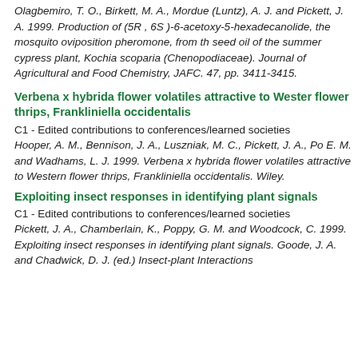Olagbemiro, T. O., Birkett, M. A., Mordue (Luntz), A. J. and Pickett, J. A. 1999. Production of (5R , 6S )-6-acetoxy-5-hexadecanolide, the mosquito oviposition pheromone, from the seed oil of the summer cypress plant, Kochia scoparia (Chenopodiaceae). Journal of Agricultural and Food Chemistry, JAFC. 47, pp. 3411-3415.
Verbena x hybrida flower volatiles attractive to Western flower thrips, Frankliniella occidentalis
C1 - Edited contributions to conferences/learned societies
Hooper, A. M., Bennison, J. A., Luszniak, M. C., Pickett, J. A., Po E. M. and Wadhams, L. J. 1999. Verbena x hybrida flower volatiles attractive to Western flower thrips, Frankliniella occidentalis. Wiley.
Exploiting insect responses in identifying plant signals
C1 - Edited contributions to conferences/learned societies
Pickett, J. A., Chamberlain, K., Poppy, G. M. and Woodcock, C. 1999. Exploiting insect responses in identifying plant signals. Goode, J. A. and Chadwick, D. J. (ed.) Insect-plant Interactions